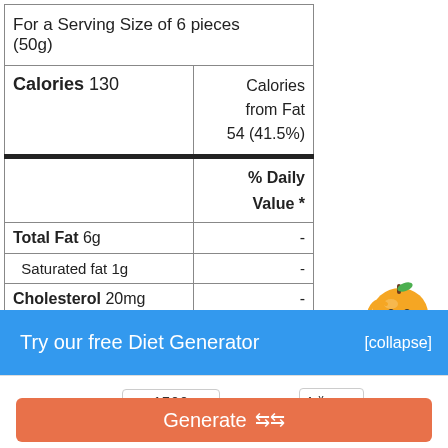| For a Serving Size of 6 pieces (50g) |  |
| Calories 130 | Calories from Fat 54 (41.5%) |
|  | % Daily Value * |
| Total Fat 6g | - |
| Saturated fat 1g | - |
| Cholesterol 20mg | - |
[Figure (illustration): Orange smiling cartoon character mascot]
Try our free Diet Generator
[collapse]
I want to eat 1500 calories in 4 meals.
Generate